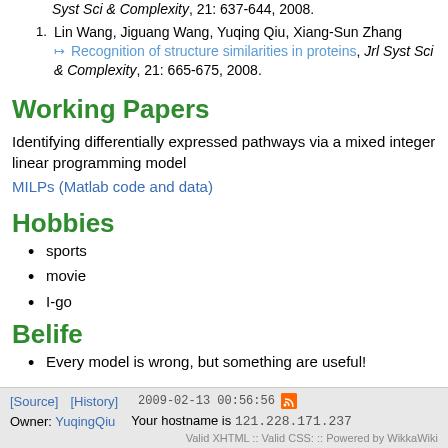Syst Sci & Complexity, 21: 637-644, 2008.
Lin Wang, Jiguang Wang, Yuqing Qiu, Xiang-Sun Zhang ↦ Recognition of structure similarities in proteins, Jrl Syst Sci & Complexity, 21: 665-675, 2008.
Working Papers
Identifying differentially expressed pathways via a mixed integer linear programming model
MILPs (Matlab code and data)
Hobbies
sports
movie
I-go
Belife
Every model is wrong, but something are useful!
[Source]  [History]  2009-02-13 00:56:56  Owner: YuqingQiu  Your hostname is 121.228.171.237  Valid XHTML :: Valid CSS: :: Powered by WikkaWiki